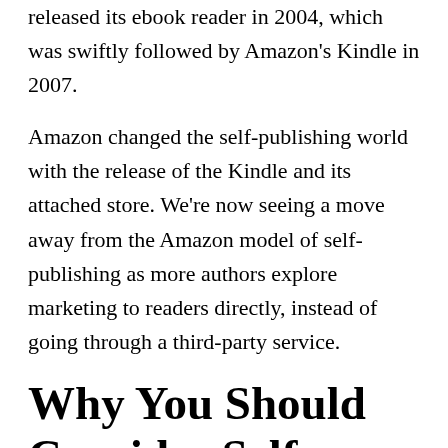released its ebook reader in 2004, which was swiftly followed by Amazon's Kindle in 2007.
Amazon changed the self-publishing world with the release of the Kindle and its attached store. We're now seeing a move away from the Amazon model of self-publishing as more authors explore marketing to readers directly, instead of going through a third-party service.
Why You Should Consider Self-Publishing
As I said in my traditional publishing post, there are pros and cons to every publishing option, and self-